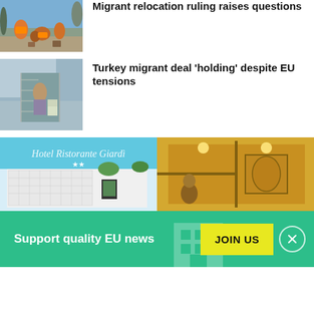[Figure (photo): Migrants or refugees gathered at a dock or port, some wearing orange life vests, sitting and standing near luggage]
Migrant relocation ruling raises questions
[Figure (photo): A person standing in an opening in a chain-link fence at a refugee or migrant camp with tents visible]
Turkey migrant deal 'holding' despite EU tensions
[Figure (photo): Hotel reception area on left and a warmly lit room interior on right]
Support quality EU news
JOIN US